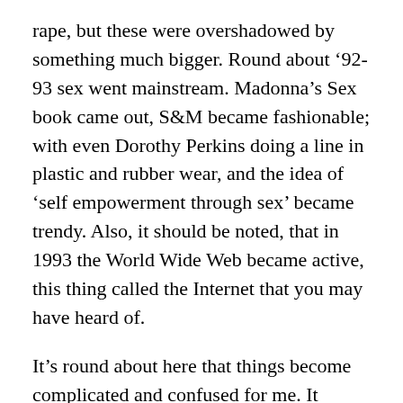rape, but these were overshadowed by something much bigger. Round about ‘92-93 sex went mainstream. Madonna’s Sex book came out, S&M became fashionable; with even Dorothy Perkins doing a line in plastic and rubber wear, and the idea of ‘self empowerment through sex’ became trendy. Also, it should be noted, that in 1993 the World Wide Web became active, this thing called the Internet that you may have heard of.
It’s round about here that things become complicated and confused for me. It would have been wonderful to have had a Dworkin versus Madonna debate on whether Porn corrupts and abuses or liberates women, but at that point there was what can only be called a paradigm shift. The possibility of debate was simply blown out of the